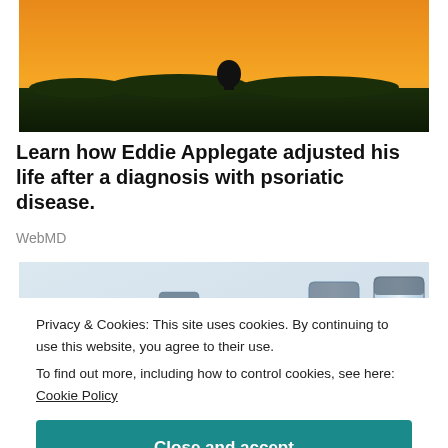[Figure (photo): Outdoor sunset/golden hour photo showing silhouette of person in a field near water]
Learn how Eddie Applegate adjusted his life after a diagnosis with psoriatic disease.
WebMD
[Figure (photo): Close-up photo of medical syringes and vials/medicine bottles on a light blue background]
Privacy & Cookies: This site uses cookies. By continuing to use this website, you agree to their use. To find out more, including how to control cookies, see here: Cookie Policy
Close and accept
symptoms